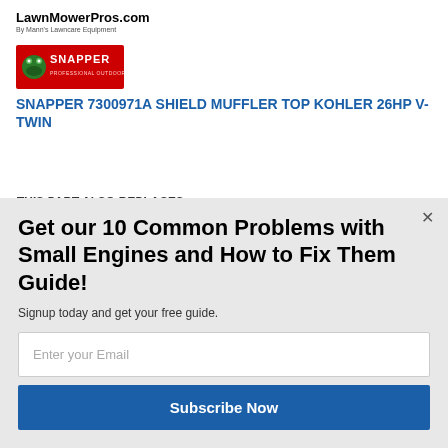LawnMowerPros.com
By Mann's Lawncare Equipment
[Figure (logo): Snapper brand logo — red background with green frog mascot and SNAPPER text in white/red lettering]
SNAPPER 7300971A SHIELD MUFFLER TOP KOHLER 26HP V-TWIN
THIS PART ALSO REPLACES:
Briggs and Stratton 7300971A
[Figure (logo): Powered by Sumo badge — light gray pill shape with crown icon and SUMO text]
Get our 10 Common Problems with Small Engines and How to Fix Them Guide!
Signup today and get your free guide.
Enter your Email
Subscribe Now